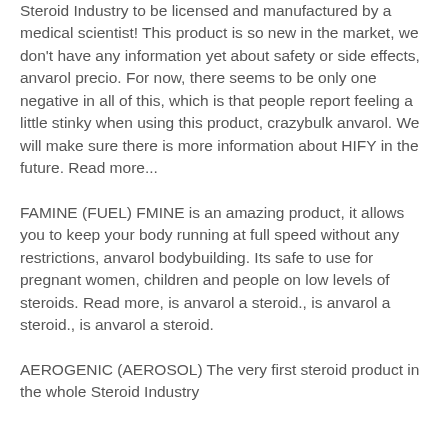Steroid Industry to be licensed and manufactured by a medical scientist! This product is so new in the market, we don't have any information yet about safety or side effects, anvarol precio. For now, there seems to be only one negative in all of this, which is that people report feeling a little stinky when using this product, crazybulk anvarol. We will make sure there is more information about HIFY in the future. Read more...
FAMINE (FUEL) FMINE is an amazing product, it allows you to keep your body running at full speed without any restrictions, anvarol bodybuilding. Its safe to use for pregnant women, children and people on low levels of steroids. Read more, is anvarol a steroid., is anvarol a steroid., is anvarol a steroid.
AEROGENIC (AEROSOL) The very first steroid product in the whole Steroid Industry